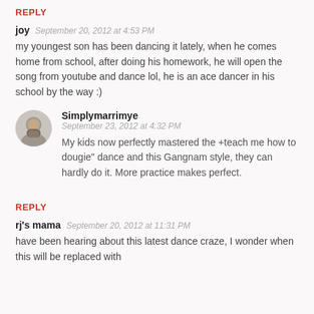REPLY
joy   September 20, 2012 at 4:53 PM
my youngest son has been dancing it lately, when he comes home from school, after doing his homework, he will open the song from youtube and dance lol, he is an ace dancer in his school by the way :)
[Figure (photo): Circular avatar photo of Simplymarrimye]
Simplymarrimye   September 23, 2012 at 4:32 PM
My kids now perfectly mastered the +teach me how to dougie" dance and this Gangnam style, they can hardly do it. More practice makes perfect.
REPLY
rj's mama   September 20, 2012 at 11:31 PM
have been hearing about this latest dance craze, I wonder when this will be replaced with